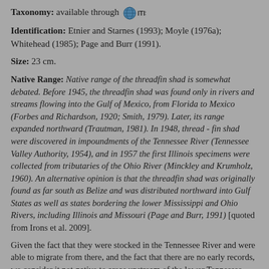Taxonomy: available through [ITIS logo]
Identification: Etnier and Starnes (1993); Moyle (1976a); Whitehead (1985); Page and Burr (1991).
Size: 23 cm.
Native Range: Native range of the threadfin shad is somewhat debated. Before 1945, the threadfin shad was found only in rivers and streams flowing into the Gulf of Mexico, from Florida to Mexico (Forbes and Richardson, 1920; Smith, 1979). Later, its range expanded northward (Trautman, 1981). In 1948, thread - fin shad were discovered in impoundments of the Tennessee River (Tennessee Valley Authority, 1954), and in 1957 the first Illinois specimens were collected from tributaries of the Ohio River (Minckley and Krumholz, 1960). An alternative opinion is that the threadfin shad was originally found as far south as Belize and was distributed northward into Gulf States as well as states bordering the lower Mississippi and Ohio Rivers, including Illinois and Missouri (Page and Burr, 1991) [quoted from Irons et al. 2009].
Given the fact that they were stocked in the Tennessee River and were able to migrate from there, and the fact that there are no early records, we consider it not-native to areas upstream of the lower Tennessee River (on both the Tennessee and the Mississippi